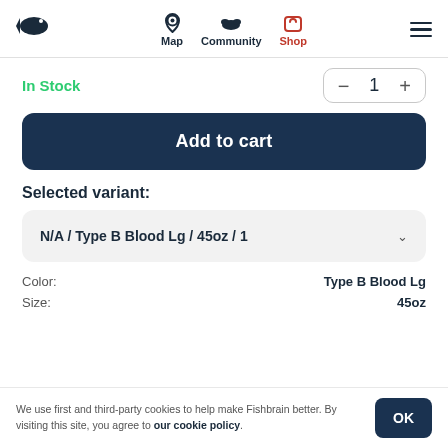Map  Community  Shop
In Stock
− 1 +
Add to cart
Selected variant:
N/A / Type B Blood Lg / 45oz / 1
Color: Type B Blood Lg
Size: 45oz
We use first and third-party cookies to help make Fishbrain better. By visiting this site, you agree to our cookie policy.